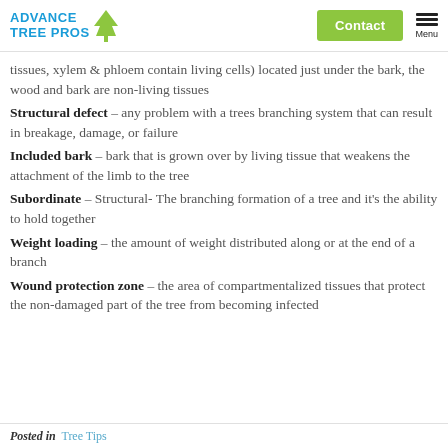ADVANCE TREE PROS | Contact | Menu
tissues, xylem & phloem contain living cells) located just under the bark, the wood and bark are non-living tissues
Structural defect – any problem with a trees branching system that can result in breakage, damage, or failure
Included bark – bark that is grown over by living tissue that weakens the attachment of the limb to the tree
Subordinate – Structural- The branching formation of a tree and it's the ability to hold together
Weight loading – the amount of weight distributed along or at the end of a branch
Wound protection zone – the area of compartmentalized tissues that protect the non-damaged part of the tree from becoming infected
Posted in   Tree Tips